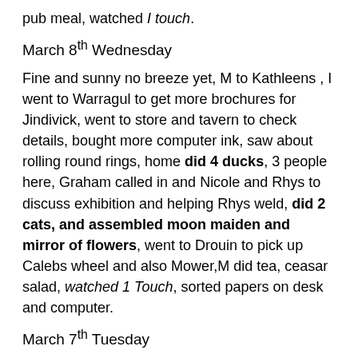pub meal, watched I touch.
March 8th Wednesday
Fine and sunny no breeze yet, M to Kathleens , I went to Warragul to get more brochures for Jindivick, went to store and tavern to check details, bought more computer ink, saw about rolling round rings, home did 4 ducks, 3 people here, Graham called in and Nicole and Rhys to discuss exhibition and helping Rhys weld, did 2 cats, and assembled moon maiden and mirror of flowers, went to Drouin to pick up Calebs wheel and also Mower,M did tea, ceasar salad, watched 1 Touch, sorted papers on desk and computer.
March 7th Tuesday
Fine and sunny with a lovely nth east breeze, did 2 small hinged boxes, 5 chooks, 1 flower mirror , talked to wayne, 2 people visited, Kay and Bill came to play plasma cutting,did dragonfly wings and painted one side of moon maiden, sausages for tea no